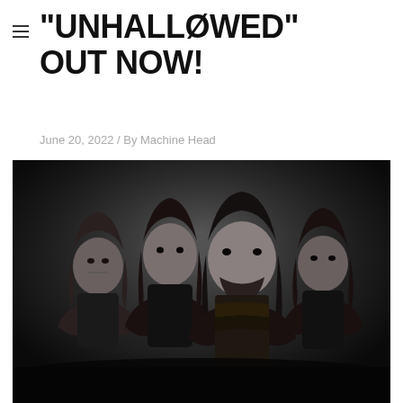"UNHALLØWED" OUT NOW!
June 20, 2022 / By Machine Head
[Figure (photo): Black and white promotional photo of four long-haired metal band members (Machine Head) standing with arms crossed, looking intensely at the camera against a dark background.]